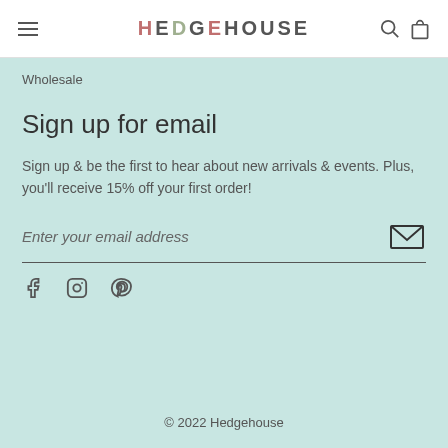HEDGEHOUSE
Wholesale
Sign up for email
Sign up & be the first to hear about new arrivals & events. Plus, you'll receive 15% off your first order!
Enter your email address
f  Instagram  Pinterest
© 2022 Hedgehouse